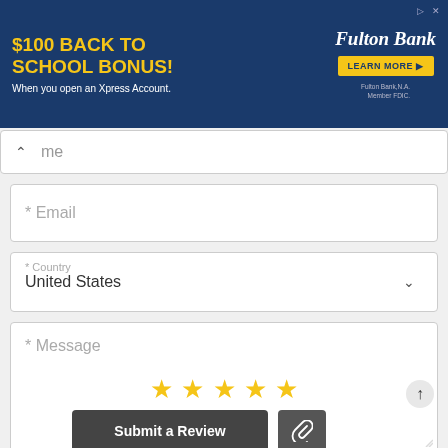[Figure (screenshot): Fulton Bank advertisement banner: '$100 BACK TO SCHOOL BONUS! When you open an Xpress Account.' with a 'LEARN MORE' button and Fulton Bank logo. Blue background with yellow text.]
me
* Email
* Country
United States
* Message
[Figure (other): Five gold/yellow star rating icons]
Submit a Review